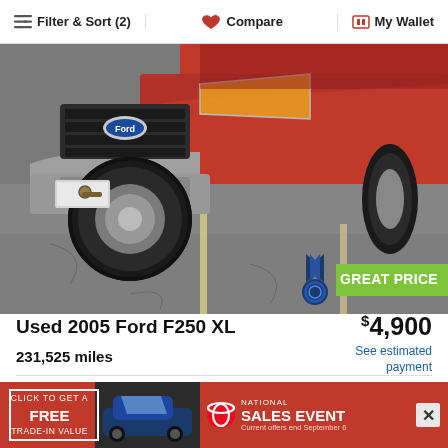Filter & Sort (2)   Compare   My Wallet
[Figure (photo): Front view of a red 2005 Ford F250 XL truck parked in a parking lot, showing the grille, bumper, and front wheel close-up]
Used 2005 Ford F250 XL
$4,900
See estimated payment
231,525 miles
Cincy AutoMall  (4.3 mi. away)
KBB.com Rating ★ 3.8
(513) 912-4570  |  Confirm Availability
Get AutoCheck Vehicle History
[Figure (infographic): Red advertisement banner: CLICK TO GET A FREE TRADE-IN VALUE, with Toyota RAV4 image, Toyota logo, NATIONAL SALES EVENT, Current offers end September 6]